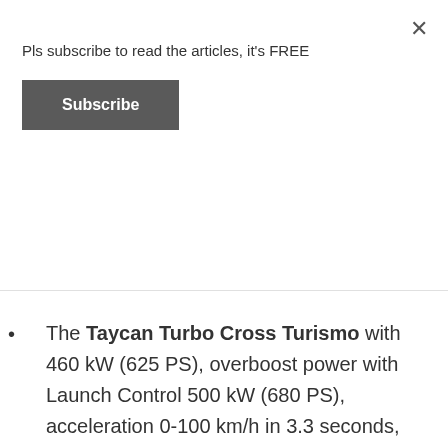Pls subscribe to read the articles, it's FREE
Subscribe
×
...acceleration 0-100 km/h in 4.2 seconds, top speed 240 km/h, range (NEDC) 436 km
The Taycan Turbo Cross Turismo with 460 kW (625 PS), overboost power with Launch Control 500 kW (680 PS), acceleration 0-100 km/h in 3.3 seconds, top speed 250 km/h, range (NEDC) 425 km